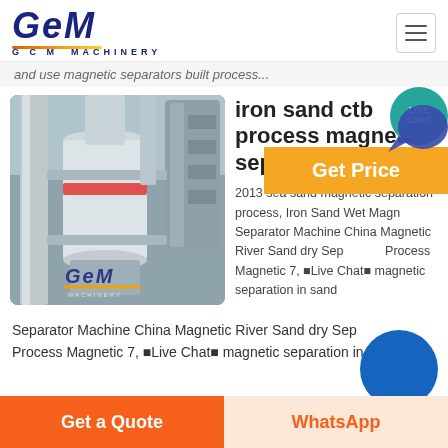[Figure (logo): GCM Machinery logo with italic blue text and orange underline]
and use magnetic separators built process...
[Figure (photo): Industrial magnetic separator machinery equipment photo with GCM watermark]
iron sand ctb process magnetic separator
2013 sea sand magnetic separation process, Iron Sand Wet Magnetic Separator Machine China Magnetic River Sand dry Sep... Process Magnetic 7, Live Chat magnetic separation in sand